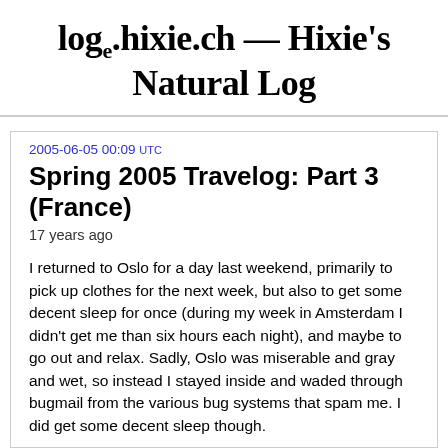loge.hixie.ch — Hixie's Natural Log
2005-06-05 00:09 UTC
Spring 2005 Travelog: Part 3 (France)
17 years ago
I returned to Oslo for a day last weekend, primarily to pick up clothes for the next week, but also to get some decent sleep for once (during my week in Amsterdam I didn't get me than six hours each night), and maybe to go out and relax. Sadly, Oslo was miserable and gray and wet, so instead I stayed inside and waded through bugmail from the various bug systems that spam me. I did get some decent sleep though.